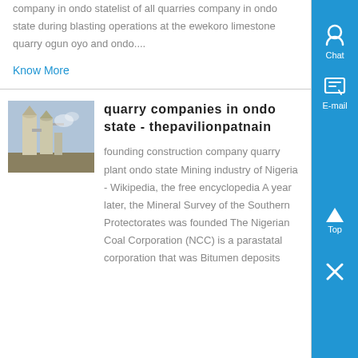company in ondo statelist of all quarries company in ondo state during blasting operations at the ewekoro limestone quarry ogun oyo and ondo....
Know More
quarry companies in ondo state - thepavilionpatnain
[Figure (photo): Industrial quarry plant equipment - silos and processing towers]
founding construction company quarry plant ondo state Mining industry of Nigeria - Wikipedia, the free encyclopedia A year later, the Mineral Survey of the Southern Protectorates was founded The Nigerian Coal Corporation (NCC) is a parastatal corporation that was Bitumen deposits